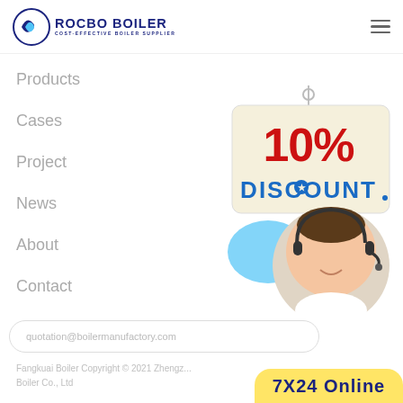[Figure (logo): Rocbo Boiler logo with circular wave icon, company name in dark blue uppercase text, tagline COST-EFFECTIVE BOILER SUPPLIER]
Products
Cases
Project
News
About
Contact
[Figure (illustration): 10% Discount badge hanging sign with red and blue text on cream background, with customer service representative wearing headset]
quotation@boilermanufactory.com
Fangkuai Boiler Copyright © 2021 Zhengz... Boiler Co., Ltd
7X24 Online